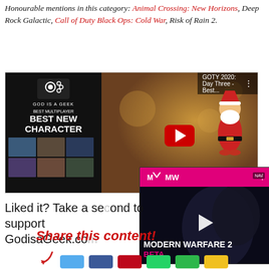Honourable mentions in this category: Animal Crossing: New Horizons, Deep Rock Galactic, Call of Duty Black Ops: Cold War, Risk of Rain 2.
[Figure (screenshot): Embedded YouTube video thumbnail showing 'GOTY 2020: Day Three - Best...' with God is a Geek branding, Best Multiplayer / Best New Character categories, a red play button, and a Santa Claus figurine on the right side.]
[Figure (screenshot): Overlapping ad overlay showing Modern Warfare 2 Beta with pink/magenta Activision branding bar, a play button, and dark game background imagery.]
Liked it? Take a second to support GodisaGeek.co...
[Figure (other): Patreon button - orange/red button with Patreon icon and BECOME text]
Share this content!
[Figure (other): Social sharing buttons row - Twitter (light blue), Facebook (dark blue), Pinterest (red), WhatsApp (green), another green button, and a yellow button]